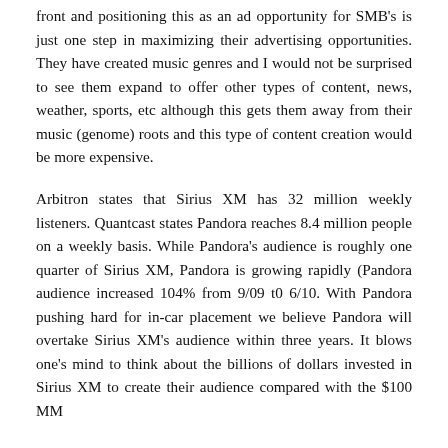front and positioning this as an ad opportunity for SMB's is just one step in maximizing their advertising opportunities. They have created music genres and I would not be surprised to see them expand to offer other types of content, news, weather, sports, etc although this gets them away from their music (genome) roots and this type of content creation would be more expensive.
Arbitron states that Sirius XM has 32 million weekly listeners. Quantcast states Pandora reaches 8.4 million people on a weekly basis. While Pandora's audience is roughly one quarter of Sirius XM, Pandora is growing rapidly (Pandora audience increased 104% from 9/09 t0 6/10. With Pandora pushing hard for in-car placement we believe Pandora will overtake Sirius XM's audience within three years. It blows one's mind to think about the billions of dollars invested in Sirius XM to create their audience compared with the $100 MM